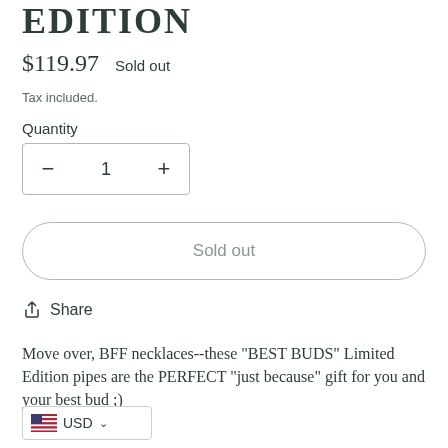EDITION
$119.97   Sold out
Tax included.
Quantity
− 1 +
Sold out
↑ Share
Move over, BFF necklaces--these "BEST BUDS" Limited Edition pipes are the PERFECT "just because" gift for you and your best bud ;)
USD ∨